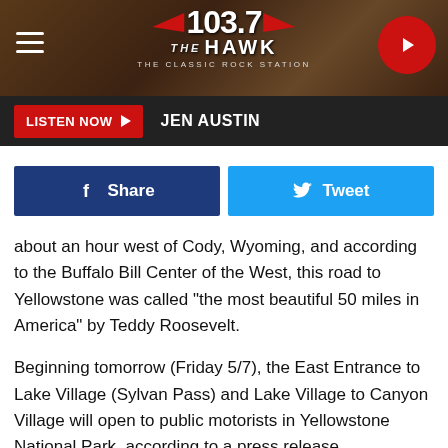103.7 THE HAWK - THE CLASSIC ROCK STATION
LISTEN NOW  JEN AUSTIN
[Figure (other): Facebook Share button and Twitter Tweet button]
about an hour west of Cody, Wyoming, and according to the Buffalo Bill Center of the West, this road to Yellowstone was called “the most beautiful 50 miles in America” by Teddy Roosevelt.
Beginning tomorrow (Friday 5/7), the East Entrance to Lake Village (Sylvan Pass) and Lake Village to Canyon Village will open to public motorists in Yellowstone National Park, according to a press release.